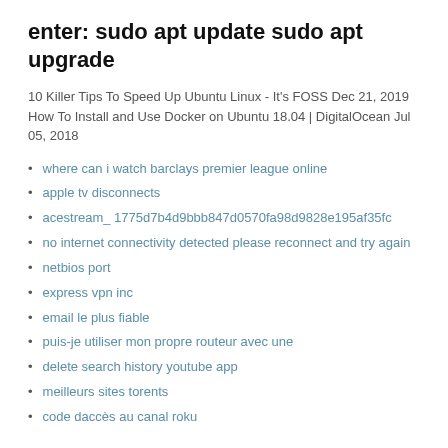enter: sudo apt update sudo apt upgrade
10 Killer Tips To Speed Up Ubuntu Linux - It's FOSS Dec 21, 2019 How To Install and Use Docker on Ubuntu 18.04 | DigitalOcean Jul 05, 2018
where can i watch barclays premier league online
apple tv disconnects
acestream_ 1775d7b4d9bbb847d0570fa98d9828e195af35fc
no internet connectivity detected please reconnect and try again
netbios port
express vpn inc
email le plus fiable
puis-je utiliser mon propre routeur avec une
delete search history youtube app
meilleurs sites torents
code daccès au canal roku